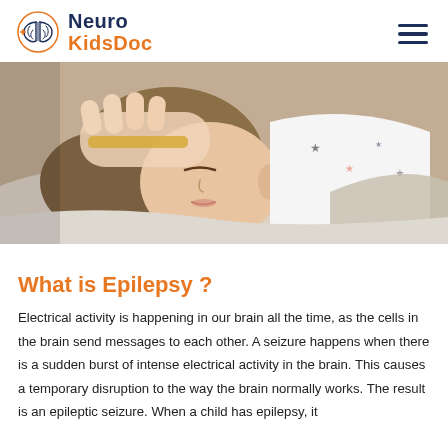NeuroKidsDoc
[Figure (photo): A child lying down appearing unwell, with an adult's hand placed gently on the child's head, suggesting care during a seizure or illness.]
What is Epilepsy ?
Electrical activity is happening in our brain all the time, as the cells in the brain send messages to each other. A seizure happens when there is a sudden burst of intense electrical activity in the brain. This causes a temporary disruption to the way the brain normally works. The result is an epileptic seizure. When a child has epilepsy, it